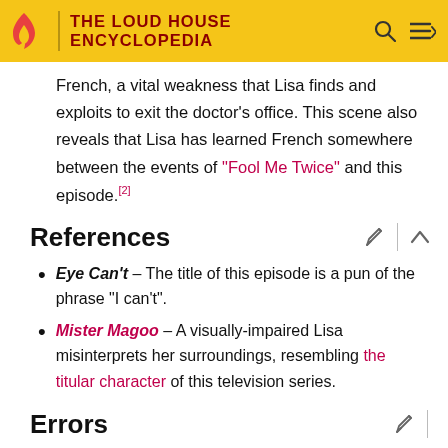THE LOUD HOUSE ENCYCLOPEDIA
French, a vital weakness that Lisa finds and exploits to exit the doctor's office. This scene also reveals that Lisa has learned French somewhere between the events of "Fool Me Twice" and this episode.[2]
References
Eye Can't – The title of this episode is a pun of the phrase "I can't".
Mister Magoo – A visually-impaired Lisa misinterprets her surroundings, resembling the titular character of this television series.
Errors